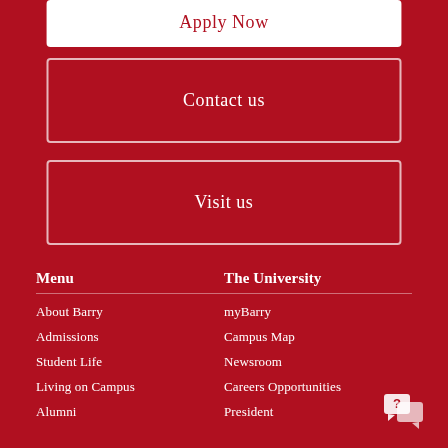Apply Now
Contact us
Visit us
Menu
The University
About Barry
myBarry
Admissions
Campus Map
Student Life
Newsroom
Living on Campus
Careers Opportunities
Alumni
President